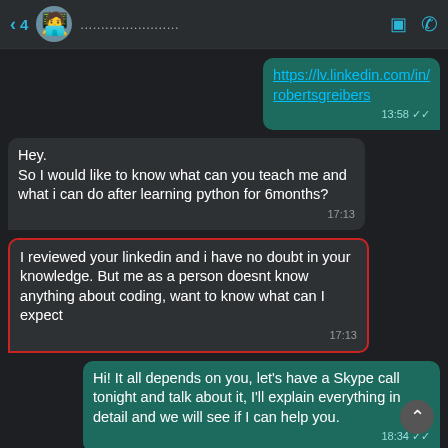< 4  [avatar emoji]  [redacted contact name]  [video icon] [phone icon]
https://lv.linkedin.com/in/robertsgreibers  13:58 ✓✓
Hey.
So I would like to know what can you teach me and what i can do after learning python for 6months?  17:13
I reviewed your linkedin and i have no doubt in your knowledge. But me as a person doesnt know anything about coding, want to know what can I expect  17:13
Hi! It all depends on you, let's have a Skype call tonight and talk about it, I'll explain everything in detail and we will see if I can help you.  18:34 ✓✓